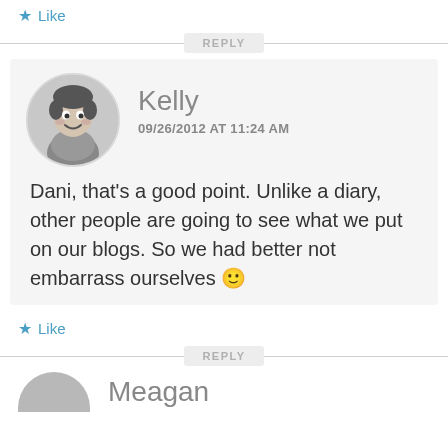★ Like
REPLY
Kelly
09/26/2012 AT 11:24 AM
Dani, that's a good point. Unlike a diary, other people are going to see what we put on our blogs. So we had better not embarrass ourselves 🙂
★ Like
REPLY
Meagan